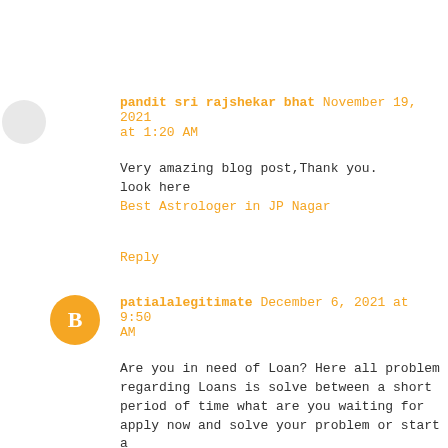pandit sri rajshekar bhat November 19, 2021 at 1:20 AM
Very amazing blog post,Thank you.
look here
Best Astrologer in JP Nagar
Reply
patialalegitimate December 6, 2021 at 9:50 AM
Are you in need of Loan? Here all problem regarding Loans is solve between a short period of time what are you waiting for apply now and solve your problem or start a business with funds Contact us now. many more 2% interest rate.(Whats App) number +919394133968 patialalegitimate515@gmail.com Mr Sorina